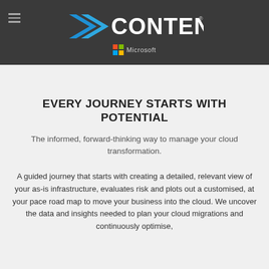[Figure (logo): XContent logo with blue arrow/chevron on dark grey header bar, with Microsoft logo below]
EVERY JOURNEY STARTS WITH POTENTIAL
The informed, forward-thinking way to manage your cloud transformation.
A guided journey that starts with creating a detailed, relevant view of your as-is infrastructure, evaluates risk and plots out a customised, at your pace road map to move your business into the cloud. We uncover the data and insights needed to plan your cloud migrations and continuously optimise,